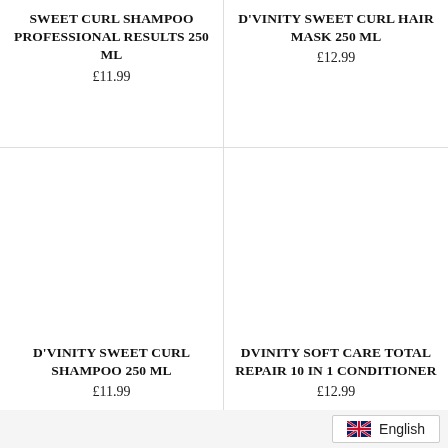SWEET CURL SHAMPOO PROFESSIONAL RESULTS 250 ML
£11.99
D'VINITY SWEET CURL HAIR MASK 250 ML
£12.99
[Figure (photo): Product image placeholder for D'Vinity Sweet Curl Shampoo 250 ML]
D'VINITY SWEET CURL SHAMPOO 250 ML
£11.99
[Figure (photo): Product image placeholder for Dvinity Soft Care Total Repair 10 In 1 Conditioner]
DVINITY SOFT CARE TOTAL REPAIR 10 IN 1 CONDITIONER
£12.99
English